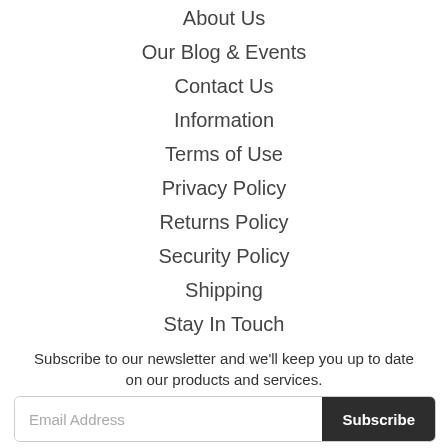About Us
Our Blog & Events
Contact Us
Information
Terms of Use
Privacy Policy
Returns Policy
Security Policy
Shipping
Stay In Touch
Subscribe to our newsletter and we'll keep you up to date on our products and services.
Email Address  Subscribe